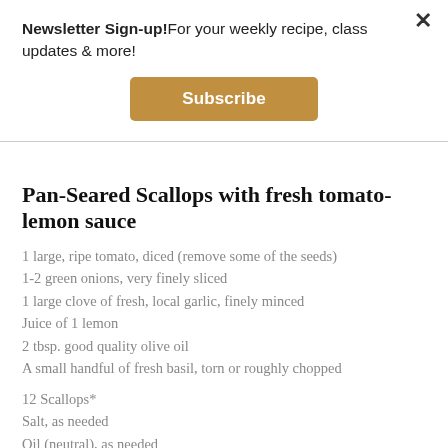Newsletter Sign-up! For your weekly recipe, class updates & more!
[Figure (other): Subscribe button - golden/amber colored rectangular button with white bold text 'Subscribe']
Pan-Seared Scallops with fresh tomato-lemon sauce
1 large, ripe tomato, diced (remove some of the seeds)
1-2 green onions, very finely sliced
1 large clove of fresh, local garlic, finely minced
Juice of 1 lemon
2 tbsp. good quality olive oil
A small handful of fresh basil, torn or roughly chopped
12 Scallops*
Salt, as needed
Oil (neutral), as needed
*KEY TIP: Purchase a U10 or a 10-20 size FAS (frozen at sea) scallop. We buy Comeau brand scallops from Nova Scotia at